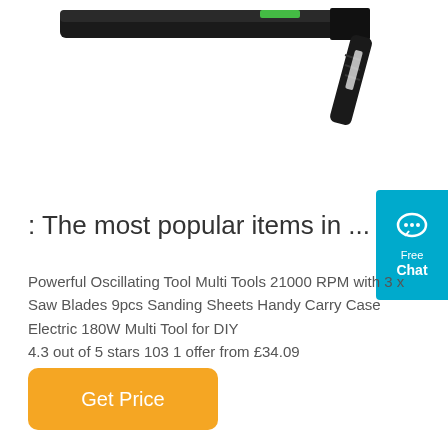[Figure (photo): Product image of an oscillating multi-tool, black colored, shown from above against white background]
[Figure (infographic): Blue chat widget button with speech bubble icon, text 'Free Chat']
: The most popular items in ...
Powerful Oscillating Tool Multi Tools 21000 RPM with 3 x Saw Blades 9pcs Sanding Sheets Handy Carry Case Electric 180W Multi Tool for DIY 4.3 out of 5 stars 103 1 offer from £34.09
Get Price